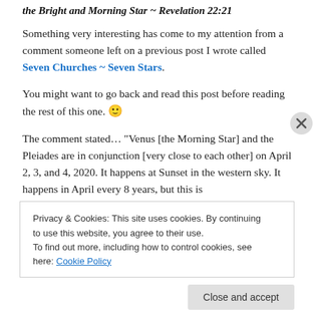the Bright and Morning Star ~ Revelation 22:21
Something very interesting has come to my attention from a comment someone left on a previous post I wrote called Seven Churches ~ Seven Stars.
You might want to go back and read this post before reading the rest of this one. 🙂
The comment stated… "Venus [the Morning Star] and the Pleiades are in conjunction [very close to each other] on April 2, 3, and 4, 2020. It happens at Sunset in the western sky. It happens in April every 8 years, but this is
Privacy & Cookies: This site uses cookies. By continuing to use this website, you agree to their use. To find out more, including how to control cookies, see here: Cookie Policy
Close and accept